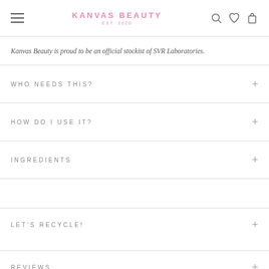KANVAS BEAUTY EST. 2020
Kanvas Beauty is proud to be an official stockist of SVR Laboratories.
WHO NEEDS THIS?
HOW DO I USE IT?
INGREDIENTS
LET'S RECYCLE!
REVIEWS